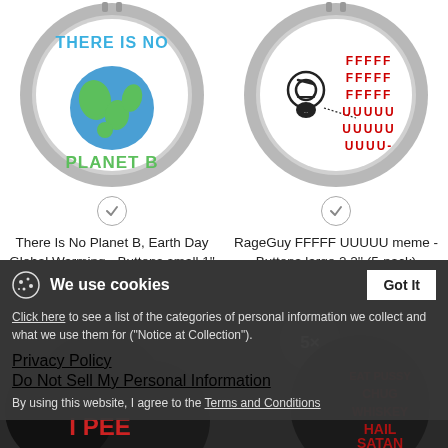[Figure (photo): Button pin with text 'There Is No Planet B' and Earth globe graphic]
[Figure (photo): Button pin with RageGuy meme face and 'FFFFF UUUUU' text in red]
There Is No Planet B, Earth Day Global Warming - Buttons small 1'' (5-pack)
$6.99
RageGuy FFFFF UUUUU meme - Buttons large 2.2'' (5-pack)
$6.99
[Figure (photo): Dark background with button products showing provocative text]
We use cookies
Click here to see a list of the categories of personal information we collect and what we use them for ("Notice at Collection").
Privacy Policy
Do Not Sell My Personal Information
By using this website, I agree to the Terms and Conditions